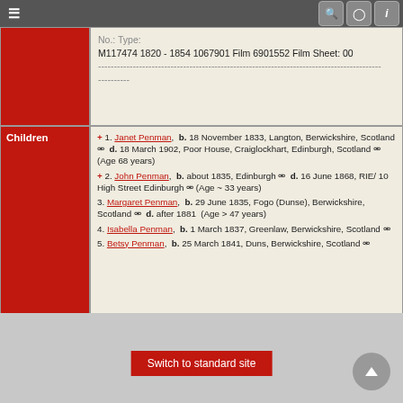≡  [search] [camera] [i]
No.: Type: M117474 1820 - 1854 1067901 Film 6901552 Film Sheet: 00
--------------------------------------------------------------------------
----------
| Children |  |
| --- | --- |
| Children | + 1. Janet Penman, b. 18 November 1833, Langton, Berwickshire, Scotland, d. 18 March 1902, Poor House, Craiglockhart, Edinburgh, Scotland (Age 68 years)
+ 2. John Penman, b. about 1835, Edinburgh, d. 16 June 1868, RIE/ 10 High Street Edinburgh (Age ~ 33 years)
3. Margaret Penman, b. 29 June 1835, Fogo (Dunse), Berwickshire, Scotland, d. after 1881 (Age > 47 years)
4. Isabella Penman, b. 1 March 1837, Greenlaw, Berwickshire, Scotland
5. Betsy Penman, b. 25 March 1841, Duns, Berwickshire, Scotland |
| Family ID | F2141 | Family Group Sheet | Family Chart |
| --- | --- | --- |
| Family ID | F2141 | Family Group Sheet | Family Chart |
Switch to standard site